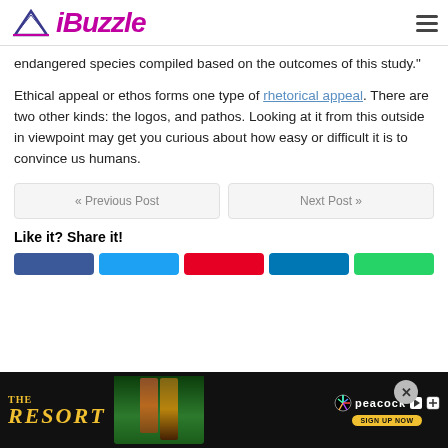iBuzzle
endangered species compiled based on the outcomes of this study.”
Ethical appeal or ethos forms one type of rhetorical appeal. There are two other kinds: the logos, and pathos. Looking at it from this outside in viewpoint may get you curious about how easy or difficult it is to convince us humans.
« Previous Post
Next Post »
Like it? Share it!
[Figure (screenshot): Advertisement banner for 'The Resort' on Peacock streaming service, with yellow stylized text and sign up button]